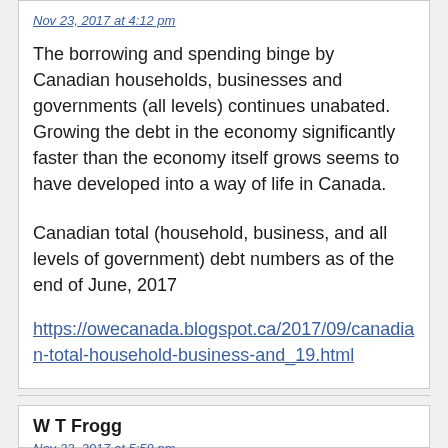Nov 23, 2017 at 4:12 pm
The borrowing and spending binge by Canadian households, businesses and governments (all levels) continues unabated. Growing the debt in the economy significantly faster than the economy itself grows seems to have developed into a way of life in Canada.
Canadian total (household, business, and all levels of government) debt numbers as of the end of June, 2017
https://owecanada.blogspot.ca/2017/09/canadian-total-household-business-and_19.html
W T Frogg
Nov 23, 2017 at 5:59 pm